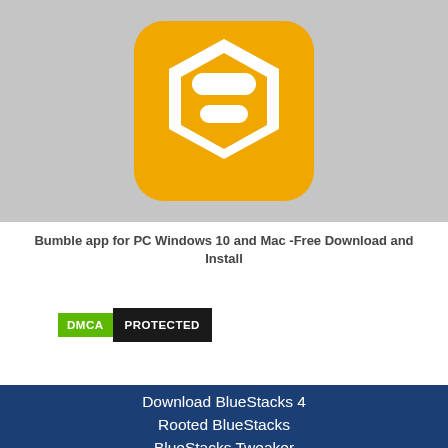[Figure (logo): App icon for Bumble on a gray background — yellow hexagon shape with white geometric shapes inside resembling a stylized 'B' logo]
Bumble app for PC Windows 10 and Mac -Free Download and Install
[Figure (logo): DMCA Protected badge — green 'DMCA' text on left, 'PROTECTED' in white on black background on right]
Download BlueStacks 4
Rooted BlueStacks
BlueStacks Tweaker